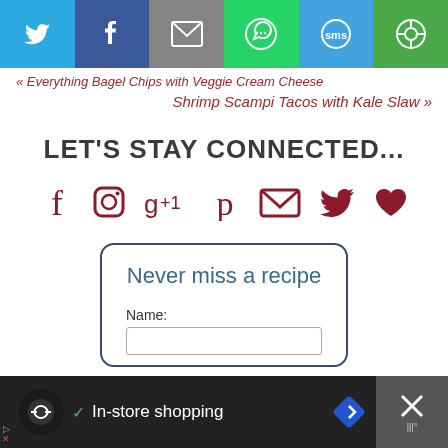[Figure (screenshot): Social media share bar with Twitter, Facebook, Email, WhatsApp, SMS, and Copy link buttons]
« Everything Bagel Chips with Veggie Cream Cheese
Shrimp Scampi Tacos with Kale Slaw »
LET'S STAY CONNECTED...
[Figure (infographic): Row of social media icons: Facebook, Instagram, Google+1, Pinterest, Email, Twitter, Heart (Favorites)]
Never miss a recipe
Name:
[Figure (screenshot): Ad bar at bottom: circular logo, checkmark, In-store shopping text, diamond navigation icon, close button]